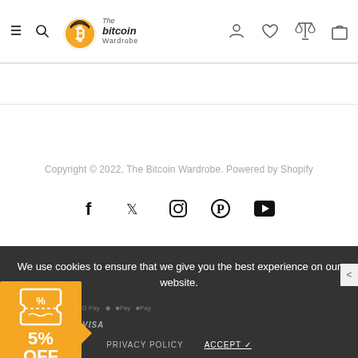[Figure (logo): The Bitcoin Wardrobe logo with Bitcoin 'B' symbol and menu/search icons on left, user/heart/scale/bag icons on right in header]
Copyright © 2022, The Bitcoin Wardrobe. Powered by Shopify
[Figure (infographic): Social media icons row: Facebook, Twitter, Instagram, Pinterest, YouTube]
We use cookies to ensure that we give you the best experience on our website.
VISA
PRIVACY POLICY   ACCEPT ✓
↑ TOP
[Figure (infographic): Coupon widget showing 5% OFF with 14:59 countdown timer in orange]
€29,00
Black / XS
ADD TO CART